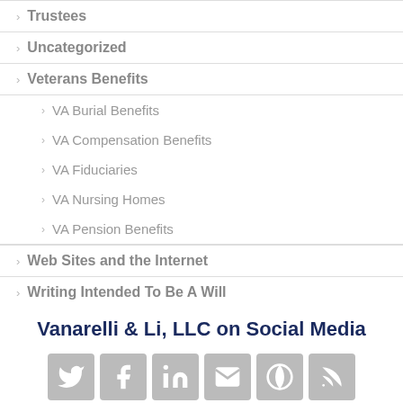Trustees
Uncategorized
Veterans Benefits
VA Burial Benefits
VA Compensation Benefits
VA Fiduciaries
VA Nursing Homes
VA Pension Benefits
Web Sites and the Internet
Writing Intended To Be A Will
Vanarelli & Li, LLC on Social Media
[Figure (infographic): Row of social media icons: Twitter, Facebook, LinkedIn, Email/envelope, WordPress, RSS feed]